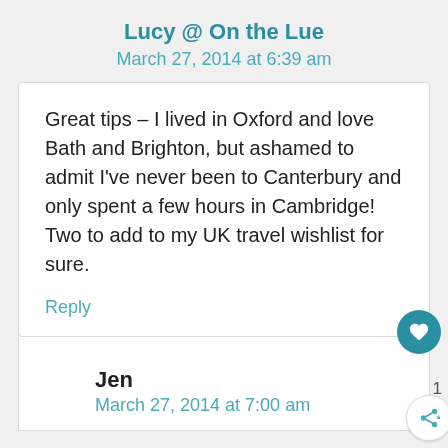Lucy @ On the Lue
March 27, 2014 at 6:39 am
Great tips – I lived in Oxford and love Bath and Brighton, but ashamed to admit I've never been to Canterbury and only spent a few hours in Cambridge! Two to add to my UK travel wishlist for sure.
Reply
Jen
March 27, 2014 at 7:00 am